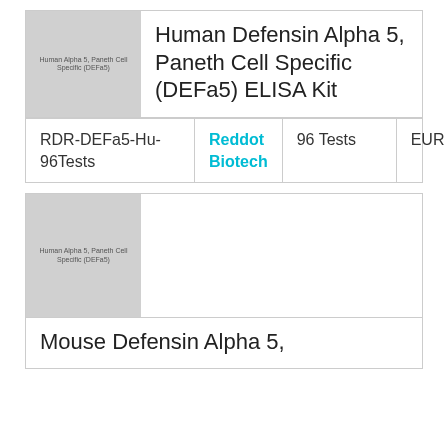[Figure (photo): Product image placeholder for Human Defensin Alpha 5 Paneth Cell Specific DEFa5 ELISA Kit]
Human Defensin Alpha 5, Paneth Cell Specific (DEFa5) ELISA Kit
| Catalog | Supplier | Size | Price |
| --- | --- | --- | --- |
| RDR-DEFa5-Hu-96Tests | Reddot Biotech | 96 Tests | EUR 724 |
[Figure (photo): Product image placeholder for Mouse Defensin Alpha 5 Paneth Cell Specific DEFa5 ELISA Kit]
Mouse Defensin Alpha 5,